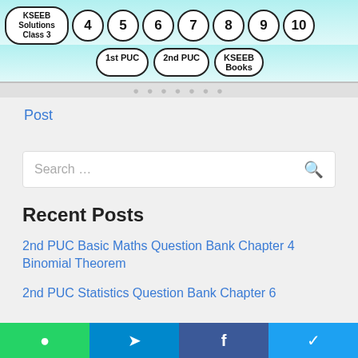[Figure (screenshot): Navigation header with KSEEB Solutions class and grade buttons (3,4,5,6,7,8,9,10) and PUC/Books pills on a light teal background]
Post
Search …
Recent Posts
2nd PUC Basic Maths Question Bank Chapter 4 Binomial Theorem
2nd PUC Statistics Question Bank Chapter 6